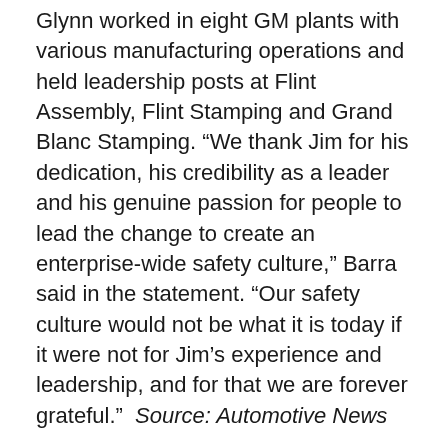Glynn worked in eight GM plants with various manufacturing operations and held leadership posts at Flint Assembly, Flint Stamping and Grand Blanc Stamping. “We thank Jim for his dedication, his credibility as a leader and his genuine passion for people to lead the change to create an enterprise-wide safety culture,” Barra said in the statement. “Our safety culture would not be what it is today if it were not for Jim’s experience and leadership, and for that we are forever grateful.”  Source: Automotive News
TIA Reorganizes Leadership Team
The Tire Industry Association (TIA) has reorganized its leadership team in a move to create an organizational structure that will better serve TIA’s